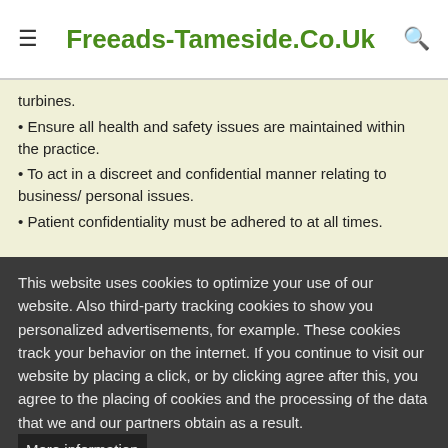≡  Freeads-Tameside.Co.Uk  🔍
turbines.
• Ensure all health and safety issues are maintained within the practice.
• To act in a discreet and confidential manner relating to business/ personal issues.
• Patient confidentiality must be adhered to at all times.
The above list of duties should not be regarded as
This website uses cookies to optimize your use of our website. Also third-party tracking cookies to show you personalized advertisements, for example. These cookies track your behavior on the internet. If you continue to visit our website by placing a click, or by clicking agree after this, you agree to the placing of cookies and the processing of the data that we and our partners obtain as a result. More information
OK